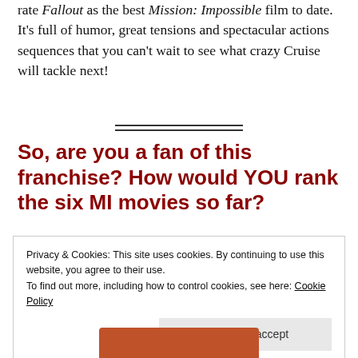rate Fallout as the best Mission: Impossible film to date. It's full of humor, great tensions and spectacular actions sequences that you can't wait to see what crazy Cruise will tackle next!
So, are you a fan of this franchise? How would YOU rank the six MI movies so far?
Privacy & Cookies: This site uses cookies. By continuing to use this website, you agree to their use.
To find out more, including how to control cookies, see here: Cookie Policy

Close and accept